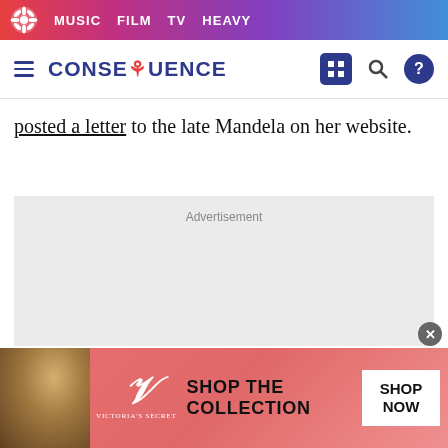MUSIC  FILM  TV  HEAVY
CONSEQUENCE
posted a letter to the late Mandela on her website.
Advertisement
[Figure (other): Victoria's Secret advertisement banner with model photo, VS logo, 'SHOP THE COLLECTION' text and 'SHOP NOW' button]